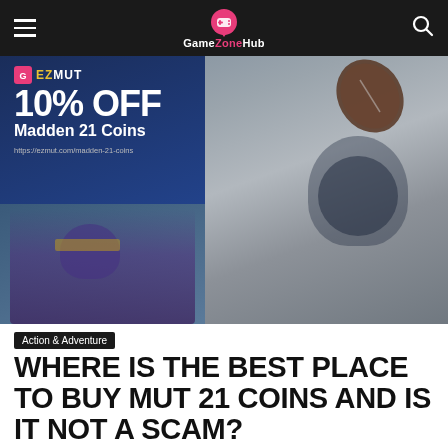Game Zone Hub
[Figure (screenshot): Hero image showing a Madden 21 advertisement overlay on the left (EZMUT logo, 10% OFF Madden 21 Coins, https://ezmut.com/madden-21-coins) and a football player/football action scene on the right background]
Action & Adventure
WHERE IS THE BEST PLACE TO BUY MUT 21 COINS AND IS IT NOT A SCAM?